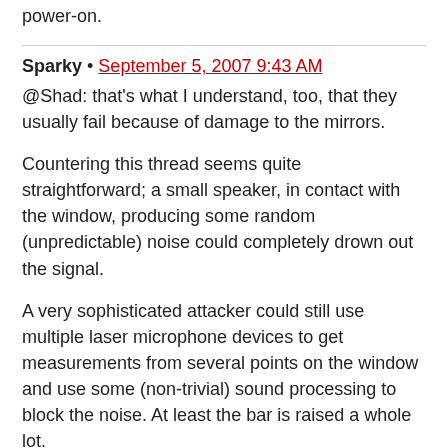power-on.
Sparky • September 5, 2007 9:43 AM
@Shad: that's what I understand, too, that they usually fail because of damage to the mirrors.

Countering this thread seems quite straightforward; a small speaker, in contact with the window, producing some random (unpredictable) noise could completely drown out the signal.

A very sophisticated attacker could still use multiple laser microphone devices to get measurements from several points on the window and use some (non-trivial) sound processing to block the noise. At least the bar is raised a whole lot.
1 • September 5, 2007 11:24 AM
@sparky
you would need a speaker for every glass part of each window. How long will the occupant stand the background